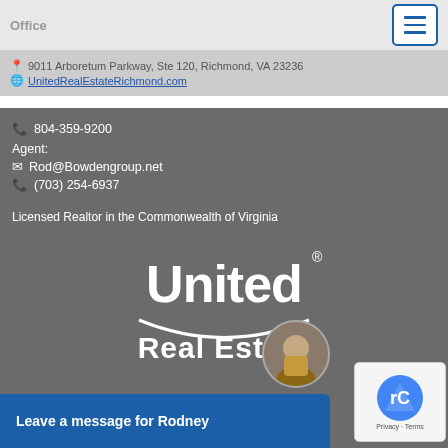Office
9011 Arboretum Parkway, Ste 120, Richmond, VA 23236
UnitedRealEstateRichmond.com
804-359-9200
Agent:
Rod@Bowdengroup.net
(703) 254-6937
Licensed Realtor in the Commonwealth of Virginia
[Figure (logo): United Real Estate logo in white on gray background]
Leave a message for Rodney